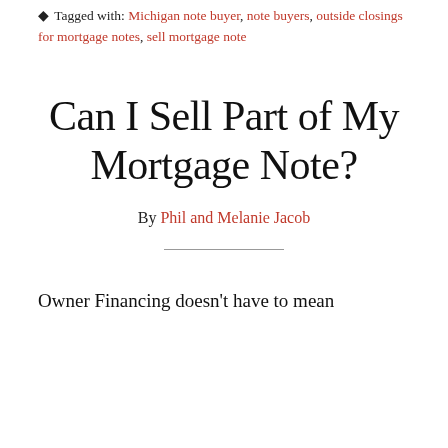Tagged with: Michigan note buyer, note buyers, outside closings for mortgage notes, sell mortgage note
Can I Sell Part of My Mortgage Note?
By Phil and Melanie Jacob
Owner Financing doesn't have to mean